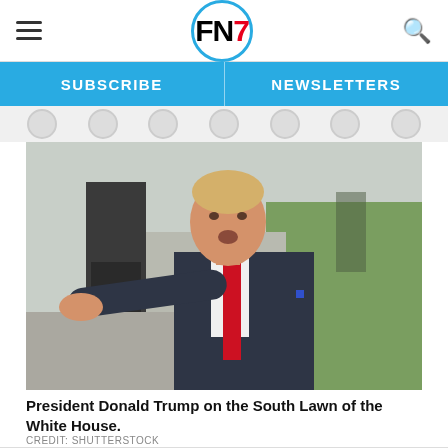FN7 — SUBSCRIBE | NEWSLETTERS
[Figure (photo): President Donald Trump on the South Lawn of the White House, pointing finger, wearing dark suit and red tie.]
President Donald Trump on the South Lawn of the White House.
CREDIT: SHUTTERSTOCK